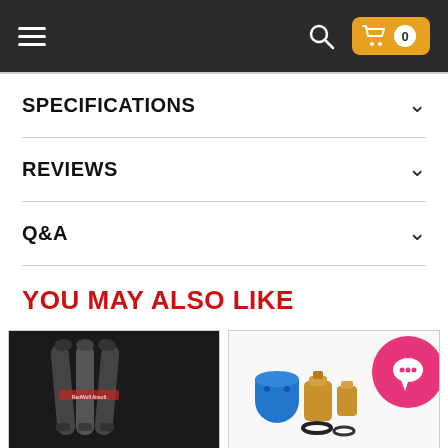Navigation bar with hamburger menu, search icon, and cart (0)
SPECIFICATIONS
REVIEWS
Q&A
YOU MAY ALSO LIKE
[Figure (photo): Product photo of curved airsoft magazines stacked together on dark background with RedWolf Airsoft branding]
[Figure (photo): Airsoft parts including a blue cylindrical component, gold fittings, o-rings, and a pink circular chat widget overlay]